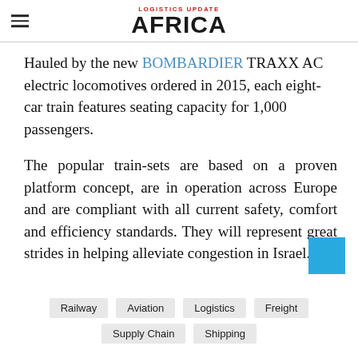LOGISTICS UPDATE AFRICA
Hauled by the new BOMBARDIER TRAXX AC electric locomotives ordered in 2015, each eight-car train features seating capacity for 1,000 passengers.
The popular train-sets are based on a proven platform concept, are in operation across Europe and are compliant with all current safety, comfort and efficiency standards. They will represent great strides in helping alleviate congestion in Israel.
Railway
Aviation
Logistics
Freight
Supply Chain
Shipping